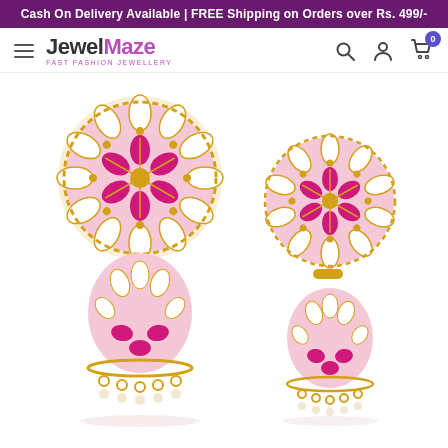Cash On Delivery Available | FREE Shipping on Orders over Rs. 499/-
[Figure (logo): JewelMaze fast fashion jewellery logo with hamburger menu icon]
[Figure (photo): Two pink and gold meenakari jhumka earrings with floral pattern and hanging pearl beads on white background]